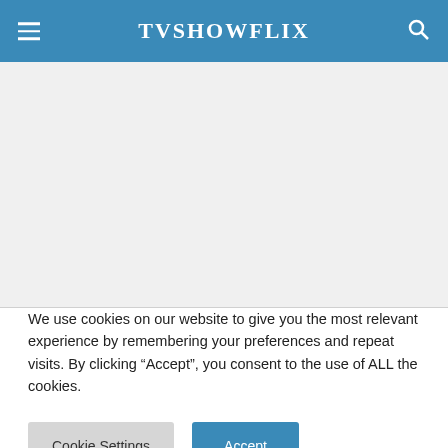TVSHOWFLIX
[Figure (other): Blank content area / advertisement placeholder]
We use cookies on our website to give you the most relevant experience by remembering your preferences and repeat visits. By clicking “Accept”, you consent to the use of ALL the cookies.
Cookie Settings | Accept